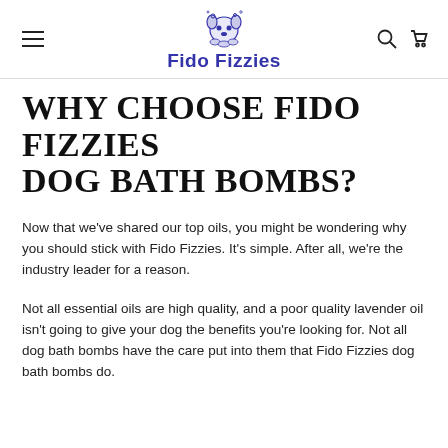Fido Fizzies
WHY CHOOSE FIDO FIZZIES DOG BATH BOMBS?
Now that we've shared our top oils, you might be wondering why you should stick with Fido Fizzies. It's simple. After all, we're the industry leader for a reason.
Not all essential oils are high quality, and a poor quality lavender oil isn't going to give your dog the benefits you're looking for. Not all dog bath bombs have the care put into them that Fido Fizzies dog bath bombs do.